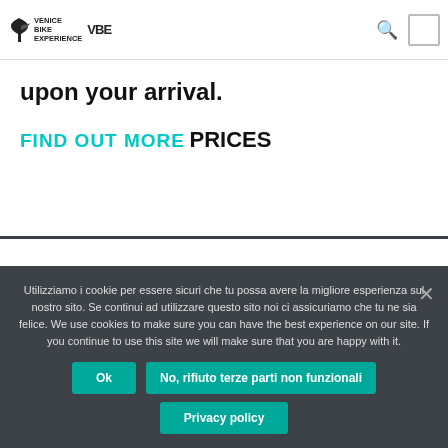Venice Bike Experience VBE
upon your arrival.
FIND OUT MORE
PRICES
Utilizziamo i cookie per essere sicuri che tu possa avere la migliore esperienza sul nostro sito. Se continui ad utilizzare questo sito noi ci assicuriamo che tu ne sia felice. We use cookies to make sure you can have the best experience on our site. If you continue to use this site we will make sure that you are happy with it.
Ok | No, rifiuto terze parti non funzionali | Privacy policy